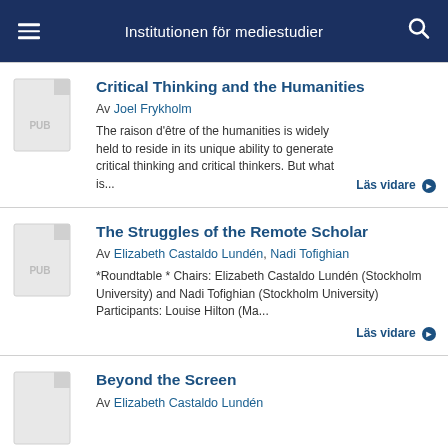Institutionen för mediestudier
Critical Thinking and the Humanities
Av Joel Frykholm
The raison d'être of the humanities is widely held to reside in its unique ability to generate critical thinking and critical thinkers. But what is...
The Struggles of the Remote Scholar
Av Elizabeth Castaldo Lundén, Nadi Tofighian
*Roundtable * Chairs: Elizabeth Castaldo Lundén (Stockholm University) and Nadi Tofighian (Stockholm University) Participants: Louise Hilton (Ma...
Beyond the Screen
Av Elizabeth Castaldo Lundén